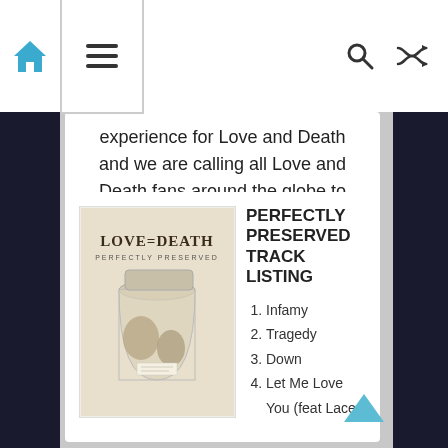Navigation bar with home icon, hamburger menu, search icon, and shuffle icon
experience for Love and Death and we are calling all Love and Death fans around the globe to join us for this very special one time event; first Love and Death show in 7 years!!!
[Figure (photo): Album cover for Love=Death by Perfectly Preserved, showing a glass jar with objects inside on a light background]
PERFECTLY PRESERVED TRACK LISTING
1. Infamy
2. Tragedy
3. Down
4. Let Me Love You (feat Lacey